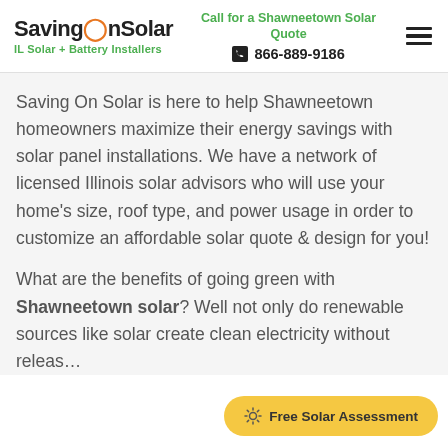SavingOnSolar — IL Solar + Battery Installers | Call for a Shawneetown Solar Quote | 866-889-9186
Saving On Solar is here to help Shawneetown homeowners maximize their energy savings with solar panel installations. We have a network of licensed Illinois solar advisors who will use your home's size, roof type, and power usage in order to customize an affordable solar quote & design for you!
What are the benefits of going green with Shawneetown solar? Well not only do renewable sources like solar create clean electricity without releas…